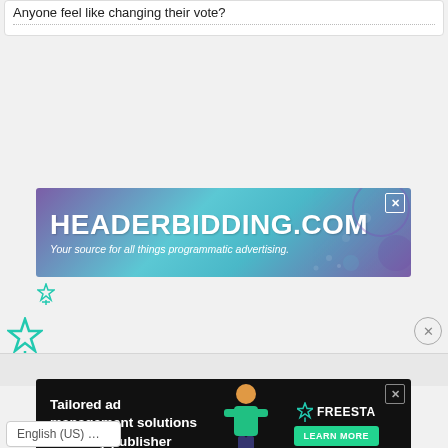Anyone feel like changing their vote?
[Figure (screenshot): HeaderBidding.com advertisement banner with gradient purple-teal background. Text reads: HEADERBIDDING.COM - Your source for all things programmatic advertising.]
[Figure (logo): Freestar small icon logo in teal/green color]
[Figure (logo): Freestar icon logo (larger) in teal/green color on left side]
[Figure (screenshot): Freestar advertisement: Tailored ad management solutions for every publisher. Dark background with illustrated figure and green LEARN MORE button.]
English (US) ...